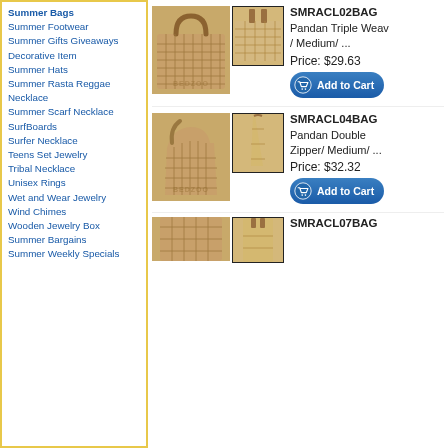Summer Bags (bold)
Summer Footwear
Summer Gifts Giveaways
Decorative Item
Summer Hats
Summer Rasta Reggae Necklace
Summer Scarf Necklace
SurfBoards
Surfer Necklace
Teens Set Jewelry
Tribal Necklace
Unisex Rings
Wet and Wear Jewelry
Wind Chimes
Wooden Jewelry Box
Summer Bargains
Summer Weekly Specials
[Figure (photo): Woven pandan bag with handle, square shape, medium size - SMRACL02BAG]
SMRACL02BAG
Pandan Triple Weav / Medium/ ...
Price: $29.63
[Figure (photo): Woven pandan shoulder bag - SMRACL04BAG]
SMRACL04BAG
Pandan Double Zipper/ Medium/ ...
Price: $32.32
[Figure (photo): Woven pandan bag - SMRACL07BAG, partial view]
SMRACL07BAG